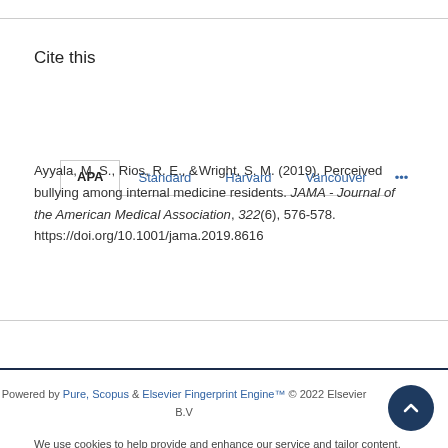Cite this
APA   Standard   Harvard   Vancouver   ...
Ayyala, M. S., Rios, R. E., & Wright, S. M. (2019). Perceived bullying among internal medicine residents. JAMA - Journal of the American Medical Association, 322(6), 576-578. https://doi.org/10.1001/jama.2019.8616
Powered by Pure, Scopus & Elsevier Fingerprint Engine™ © 2022 Elsevier B.V